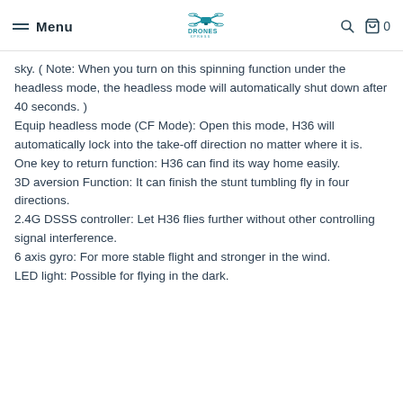Menu | DRONES XPRESS | 0
sky. ( Note: When you turn on this spinning function under the headless mode, the headless mode will automatically shut down after 40 seconds. )
Equip headless mode (CF Mode): Open this mode, H36 will automatically lock into the take-off direction no matter where it is.
One key to return function: H36 can find its way home easily.
3D aversion Function: It can finish the stunt tumbling fly in four directions.
2.4G DSSS controller: Let H36 flies further without other controlling signal interference.
6 axis gyro: For more stable flight and stronger in the wind.
LED light: Possible for flying in the dark.